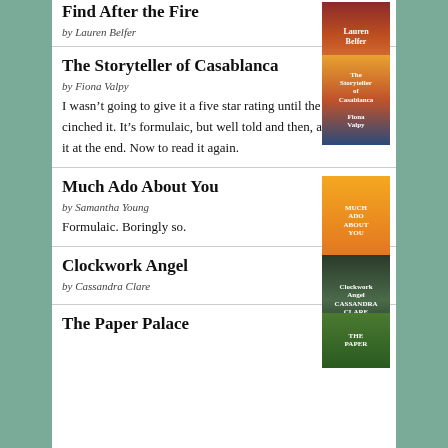Find After the Fire
by Lauren Belfer
The Storyteller of Casablanca
by Fiona Valpy
I wasn't going to give it a five star rating until the end, which cinched it. It's formulaic, but well told and then, again, worth it at the end. Now to read it again.
Much Ado About You
by Samantha Young
Formulaic. Boringly so.
Clockwork Angel
by Cassandra Clare
The Paper Palace